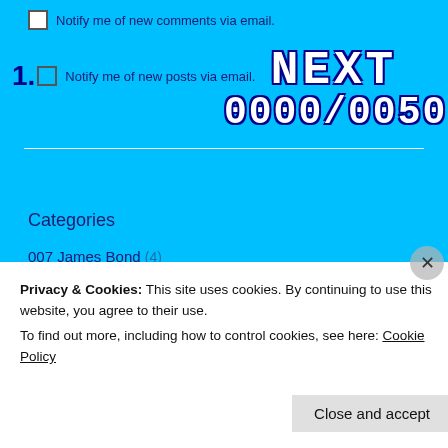Notify me of new comments via email.
Notify me of new posts via email.
[Figure (screenshot): Gaming overlay graphic showing 'NEXT' and '0000/0050' in large bold blocky white letters with dark blue outline on cyan background]
Categories
007 James Bond (4)
3DS (14)
Act Raiser (1)
Privacy & Cookies: This site uses cookies. By continuing to use this website, you agree to their use.
To find out more, including how to control cookies, see here: Cookie Policy
Close and accept